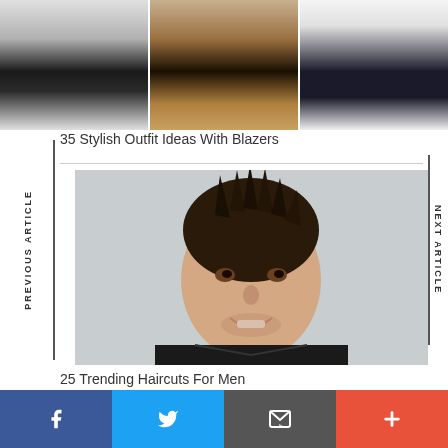[Figure (photo): Three-panel image strip showing fashion looks: left panel shows person in black pants with strappy heels, center panel shows close-up of black sandals with chain anklet, right panel shows person in white blazer and black outfit]
PREVIOUS ARTICLE
35 Stylish Outfit Ideas With Blazers
[Figure (photo): Photo of a young man with spiky dark hair styled upward, wearing a black leather jacket, smiling against a light grey background]
NEXT ARTICLE
25 Trending Haircuts For Men
[Figure (infographic): Social media sharing bar with four buttons: Facebook (blue), Twitter (blue), Email (grey), and Add/Plus (orange-red)]